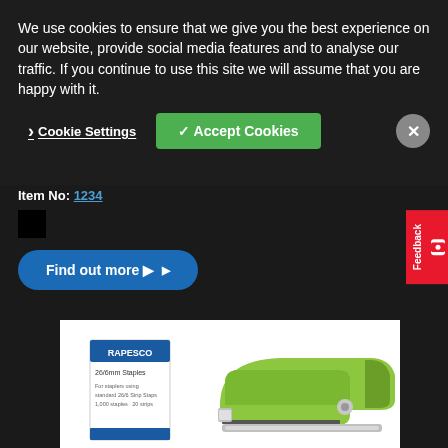We use cookies to ensure that we give you the best experience on our website, provide social media features and to analyse our traffic. If you continue to use this site we will assume that you are happy with it.
Cookie Settings
✓ Accept Cookies
Item No:
[Figure (photo): Black color swatch square]
Find out more ▶
Feedback
[Figure (photo): Rapesco brand green stapler with a box of 26/6mm Staples on a white background]